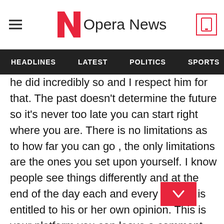Opera News
HEADLINES  LATEST  POLITICS  SPORTS
he did incredibly so and I respect him for that. The past doesn't determine the future so it's never too late you can start right where you are. There is no limitations as to how far you can go , the only limitations are the ones you set upon yourself. I know people see things differently and at the end of the day each and every person is entitled to his or her own opinion. This is your platform you can leave a comment below and share your views.
https://www.instagram.com/theofficial_junior.khanye/?hl=en